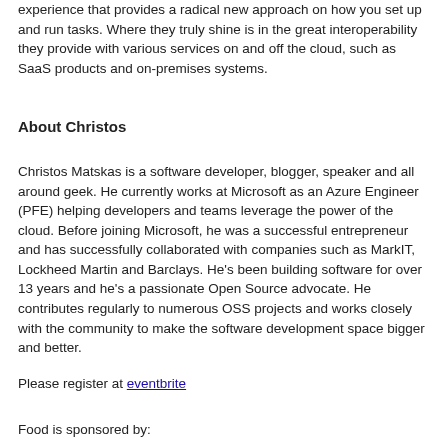experience that provides a radical new approach on how you set up and run tasks. Where they truly shine is in the great interoperability they provide with various services on and off the cloud, such as SaaS products and on-premises systems.
About Christos
Christos Matskas is a software developer, blogger, speaker and all around geek. He currently works at Microsoft as an Azure Engineer (PFE) helping developers and teams leverage the power of the cloud. Before joining Microsoft, he was a successful entrepreneur and has successfully collaborated with companies such as MarkIT, Lockheed Martin and Barclays. He's been building software for over 13 years and he's a passionate Open Source advocate. He contributes regularly to numerous OSS projects and works closely with the community to make the software development space bigger and better.
Please register at eventbrite
Food is sponsored by: